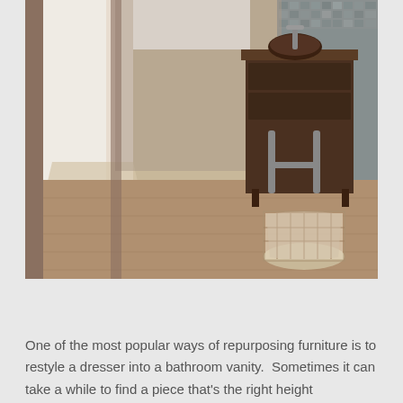[Figure (photo): Interior bathroom photo showing a dark wood vanity dresser repurposed as a bathroom sink cabinet with a vessel sink on top, exposed plumbing pipes underneath, a wicker/wire basket on the floor, a fluffy bath mat, hardwood flooring, and mosaic tile wall.]
« ‹ 2 of 2 › »
One of the most popular ways of repurposing furniture is to restyle a dresser into a bathroom vanity.  Sometimes it can take a while to find a piece that's the right height